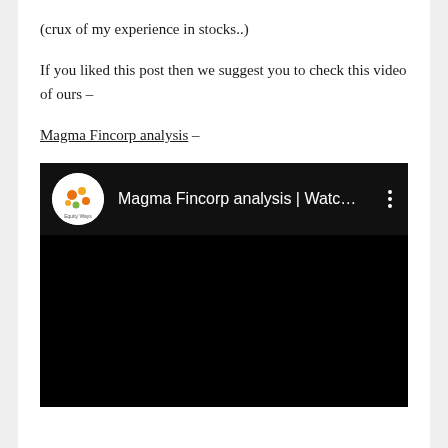(crux of my experience in stocks..)
If you liked this post then we suggest you to check this video of ours –
Magma Fincorp analysis –
[Figure (screenshot): YouTube video thumbnail embed for 'Magma Fincorp analysis | Watc...' by Equity Ways channel, displayed with black background and channel logo.]